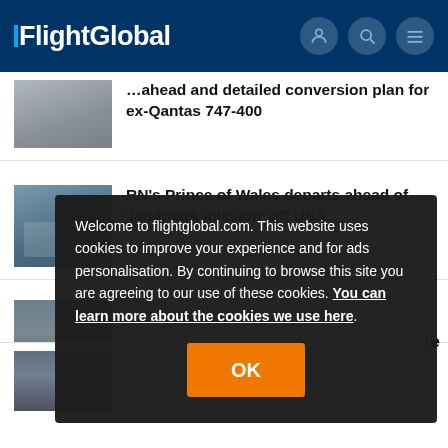FlightGlobal
...ahead and detailed conversion plan for ex-Qantas 747-400
[Figure (photo): Thumbnail image of aircraft, partially visible]
RN's Prince of Wales departs ahead of 'landmark mission' off USA
[Figure (photo): Thumbnail image of Royal Navy aircraft carrier HMS Prince of Wales]
Welcome to flightglobal.com. This website uses cookies to improve your experience and for ads personalisation. By continuing to browse this site you are agreeing to our use of these cookies. You can learn more about the cookies we use here.
OK